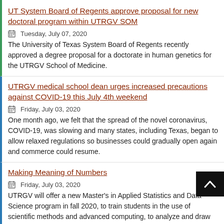UT System Board of Regents approve proposal for new doctoral program within UTRGV SOM
Tuesday, July 07, 2020
The University of Texas System Board of Regents recently approved a degree proposal for a doctorate in human genetics for the UTRGV School of Medicine.
UTRGV medical school dean urges increased precautions against COVID-19 this July 4th weekend
Friday, July 03, 2020
One month ago, we felt that the spread of the novel coronavirus, COVID-19, was slowing and many states, including Texas, began to allow relaxed regulations so businesses could gradually open again and commerce could resume.
Making Meaning of Numbers
Friday, July 03, 2020
UTRGV will offer a new Master's in Applied Statistics and Data Science program in fall 2020, to train students in the use of scientific methods and advanced computing, to analyze and draw valuable